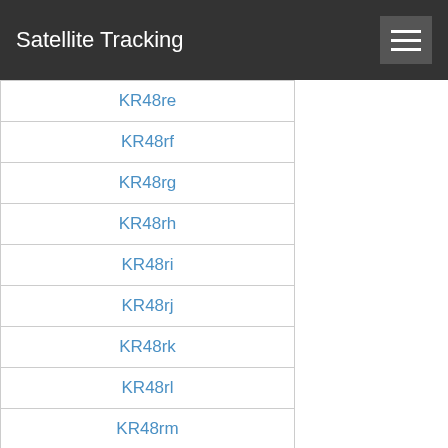Satellite Tracking
KR48re
KR48rf
KR48rg
KR48rh
KR48ri
KR48rj
KR48rk
KR48rl
KR48rm
KR48rn
KR48ro
KR48rp
KR48rq
KR48rr
KR48rs
KR48rt
KR48ru
KR48rv